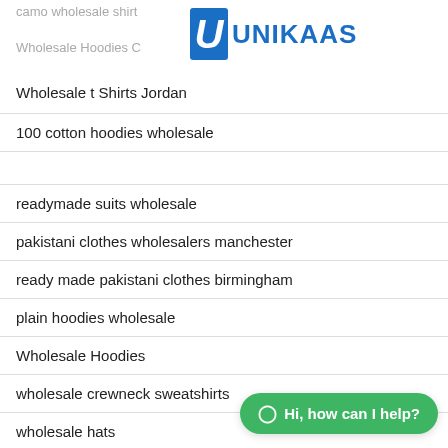camo wholesale shirt
[Figure (logo): UNIKAAS logo with blue U icon and blue text UNIKAAS]
Wholesale Hoodies C
Wholesale t Shirts Jordan
100 cotton hoodies wholesale
readymade suits wholesale
pakistani clothes wholesalers manchester
ready made pakistani clothes birmingham
plain hoodies wholesale
Wholesale Hoodies
wholesale crewneck sweatshirts
wholesale hats
Hi, how can I help?